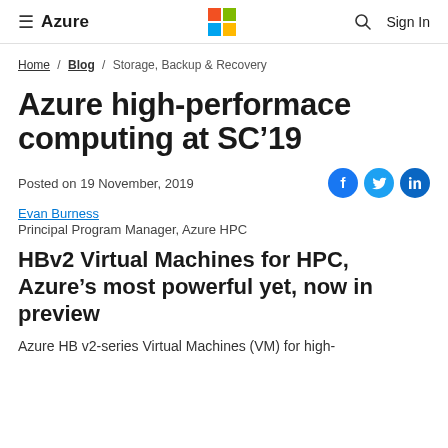≡ Azure  [Microsoft Logo]  🔍  Sign In
Home / Blog / Storage, Backup & Recovery
Azure high-performace computing at SC'19
Posted on 19 November, 2019
Evan Burness
Principal Program Manager, Azure HPC
HBv2 Virtual Machines for HPC, Azure's most powerful yet, now in preview
Azure HB v2-series Virtual Machines (VM) for high-